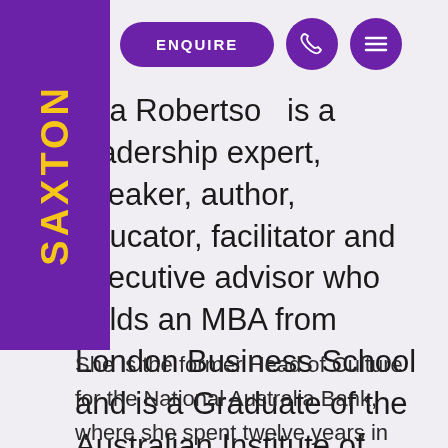[Figure (logo): Saxton Speakers Bureau purple vertical sidebar logo with yellow text reading SAXTON]
[Figure (other): Navigation bar with purple ENQUIRE pill button, purple circle phone icon button, purple circle hamburger menu button]
ona Robertson is a leadership expert, speaker, author, educator, facilitator and executive advisor who holds an MBA from London Business School and is a Graduate of the Australian Institute of Company Directors.
She is the former Head of Culture for the National Australia Bank, where she spent twelve years in senior executive positions.